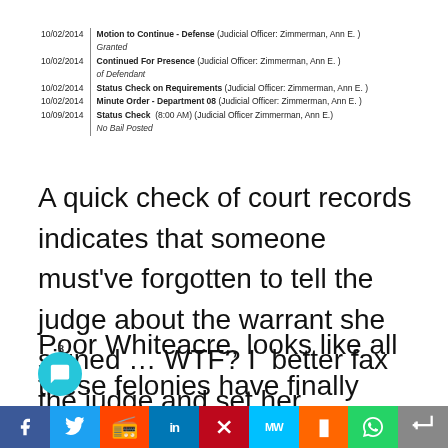| Date | Event |
| --- | --- |
| 10/02/2014 | Motion to Continue - Defense (Judicial Officer: Zimmerman, Ann E. )
Granted |
| 10/02/2014 | Continued For Presence (Judicial Officer: Zimmerman, Ann E. )
of Defendant |
| 10/02/2014 | Status Check on Requirements (Judicial Officer: Zimmerman, Ann E. ) |
| 10/02/2014 | Minute Order - Department 08 (Judicial Officer: Zimmerman, Ann E. ) |
| 10/09/2014 | Status Check (8:00 AM) (Judicial Officer Zimmerman, Ann E.)
No Bail Posted |
A quick check of court records indicates that someone must've forgotten to tell the judge about the warrant she signed … WTF? I  better fax the judge and set her straight…
Poor Whiteacre, looks like all these felonies have finally caught up to him… Fine by me, I'm sick of him correcting my grammar and forcing me to